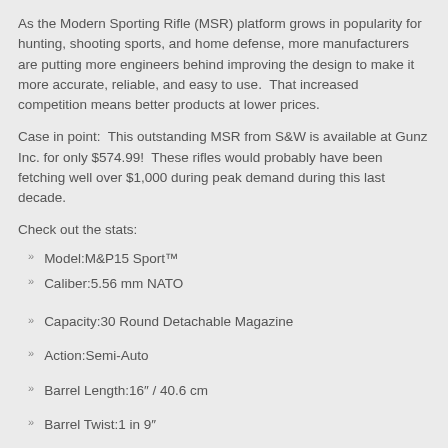As the Modern Sporting Rifle (MSR) platform grows in popularity for hunting, shooting sports, and home defense, more manufacturers are putting more engineers behind improving the design to make it more accurate, reliable, and easy to use.  That increased competition means better products at lower prices.
Case in point:  This outstanding MSR from S&W is available at Gunz Inc. for only $574.99!  These rifles would probably have been fetching well over $1,000 during peak demand during this last decade.
Check out the stats:
Model:M&P15 Sport™
Caliber:5.56 mm NATO
Capacity:30 Round Detachable Magazine
Action:Semi-Auto
Barrel Length:16″ / 40.6 cm
Barrel Twist:1 in 9″
Front Sight:Adjustable A2 Post